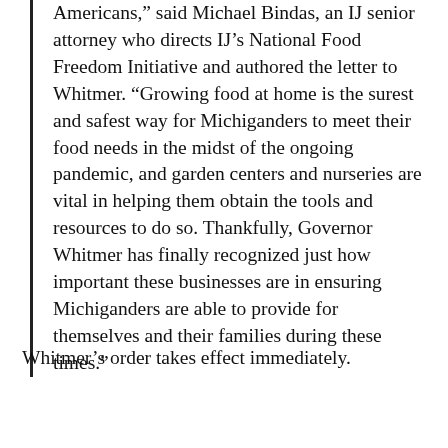Americans," said Michael Bindas, an IJ senior attorney who directs IJ's National Food Freedom Initiative and authored the letter to Whitmer. "Growing food at home is the surest and safest way for Michiganders to meet their food needs in the midst of the ongoing pandemic, and garden centers and nurseries are vital in helping them obtain the tools and resources to do so. Thankfully, Governor Whitmer has finally recognized just how important these businesses are in ensuring Michiganders are able to provide for themselves and their families during these times."
Whitmer's order takes effect immediately.